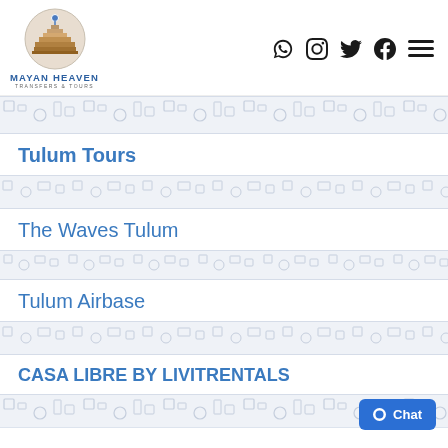Mayan Heaven Transfers & Tours
Tulum Tours
The Waves Tulum
Tulum Airbase
CASA LIBRE BY LIVITRENTALS